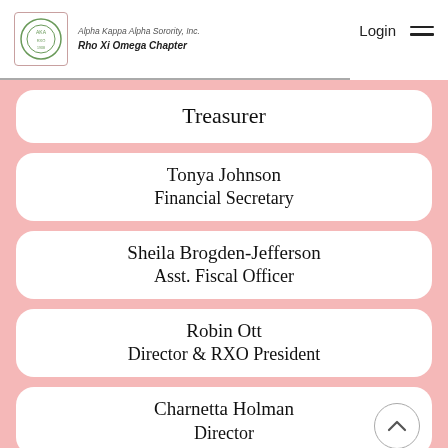Alpha Kappa Alpha Sorority, Inc. Rho Xi Omega Chapter | Login
Treasurer
Tonya Johnson
Financial Secretary
Sheila Brogden-Jefferson
Asst. Fiscal Officer
Robin Ott
Director & RXO President
Charnetta Holman
Director